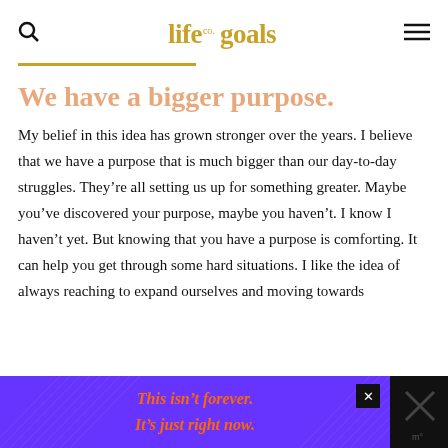life goals co. [logo] — search and menu icons
We have a bigger purpose.
My belief in this idea has grown stronger over the years. I believe that we have a purpose that is much bigger than our day-to-day struggles. They're all setting us up for something greater. Maybe you've discovered your purpose, maybe you haven't. I know I haven't yet. But knowing that you have a purpose is comforting. It can help you get through some hard situations. I like the idea of always reaching to expand ourselves and moving towards
[Figure (other): Advertisement banner with purple background and diagonal lines, orange italic text reading 'This isn't forever. It's just right now.' with a close button and dark right section.]